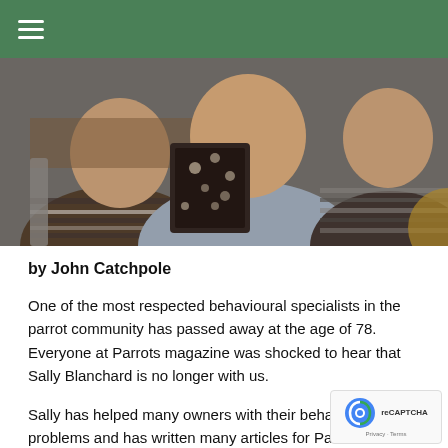≡
[Figure (photo): People seated at an event viewed from behind, showing backs of heads and shoulders. A person in a striped shirt on the left, a person in a blue/grey shirt in the center, and another person in a striped shirt on the right.]
by John Catchpole
One of the most respected behavioural specialists in the parrot community has passed away at the age of 78. Everyone at Parrots magazine was shocked to hear that Sally Blanchard is no longer with us.
Sally has helped many owners with their behavioural problems and has written many articles for Parrots magazine. One of the most notable behaviour specialists,